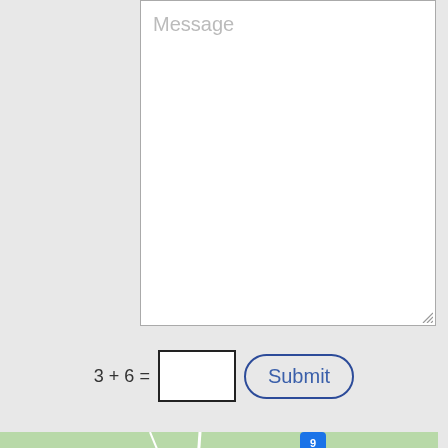[Figure (screenshot): Message text area input field with placeholder text 'Message' and a resize handle at bottom-right corner]
3 + 6 =
[Figure (screenshot): CAPTCHA math input box (empty) and Submit button with rounded border]
[Figure (map): Google Maps screenshot showing Self Esteem Shop location near Adair and Casco, with a yellow route line and map popup showing 'Self Esteem Shop' and 'View larger map' link]